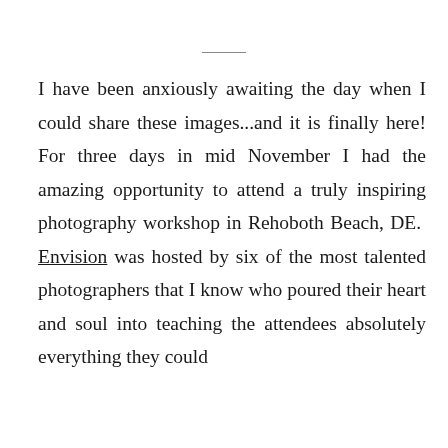I have been anxiously awaiting the day when I could share these images...and it is finally here! For three days in mid November I had the amazing opportunity to attend a truly inspiring photography workshop in Rehoboth Beach, DE. Envision was hosted by six of the most talented photographers that I know who poured their heart and soul into teaching the attendees absolutely everything they could